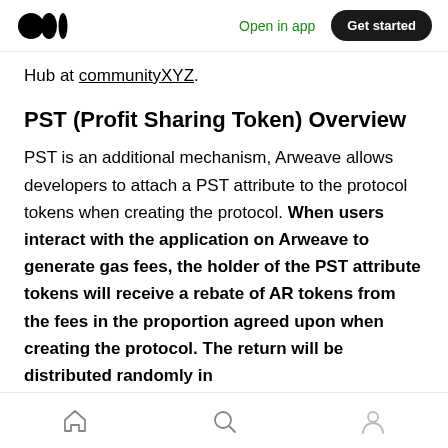Open in app | Get started
Hub at communityXYZ.
PST (Profit Sharing Token) Overview
PST is an additional mechanism, Arweave allows developers to attach a PST attribute to the protocol tokens when creating the protocol. When users interact with the application on Arweave to generate gas fees, the holder of the PST attribute tokens will receive a rebate of AR tokens from the fees in the proportion agreed upon when creating the protocol. The return will be distributed randomly in